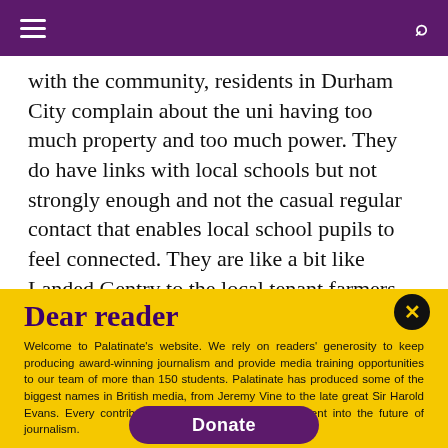[Hamburger menu] [Search icon]
with the community, residents in Durham City complain about the uni having too much property and too much power. They do have links with local schools but not strongly enough and not the casual regular contact that enables local school pupils to feel connected. They are like a bit like Landed Gentry to the local tenant farmers, there is a relationship but a totally
Dear reader
Welcome to Palatinate's website. We rely on readers' generosity to keep producing award-winning journalism and provide media training opportunities to our team of more than 150 students. Palatinate has produced some of the biggest names in British media, from Jeremy Vine to the late great Sir Harold Evans. Every contribution to Palatinate is an investment into the future of journalism.
[Figure (other): Donate button (purple rounded rectangle with white text 'Donate')]